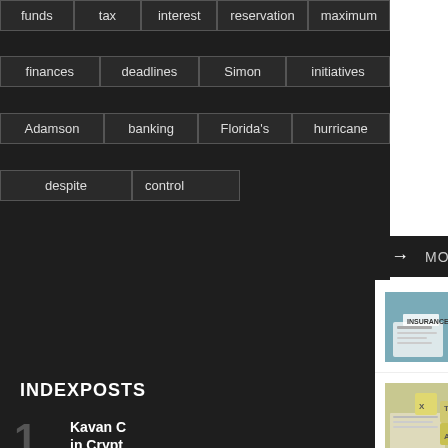funds
tax
interest
reservation
maximum
finances
deadlines
Simon
initiatives
Adamson
banking
Florida's
hurricane
despite
control
MORE NEWS
INDEXPOSTS
1  Kavan C in Crypt
FINANCE
2  How Bu Advanc
FEATURED
Practica
[Figure (photo): Person holding insurance document]
Cheapest Travel Insurance in Singapore
[Figure (photo): Tax cubes and financial documents]
Tax Return Cases: Y Need the best Deals Now
[Figure (photo): Person at laptop, investment banking]
Top 5 Pillars of Success in Investment Banking